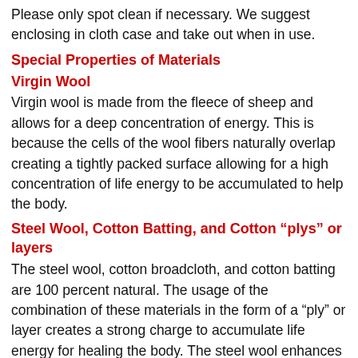Please only spot clean if necessary. We suggest enclosing in cloth case and take out when in use.
Special Properties of Materials
Virgin Wool
Virgin wool is made from the fleece of sheep and allows for a deep concentration of energy. This is because the cells of the wool fibers naturally overlap creating a tightly packed surface allowing for a high concentration of life energy to be accumulated to help the body.
Steel Wool, Cotton Batting, and Cotton “plys” or layers
The steel wool, cotton broadcloth, and cotton batting are 100 percent natural. The usage of the combination of these materials in the form of a “ply” or layer creates a strong charge to accumulate life energy for healing the body. The steel wool enhances the charge of the blanket.